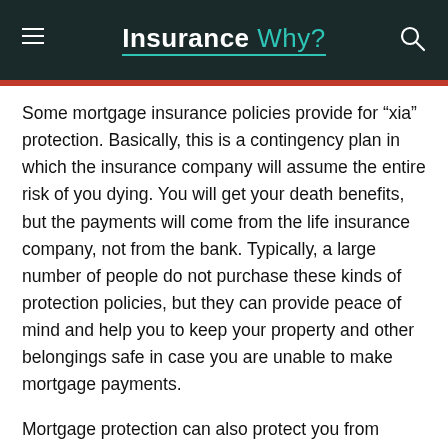Insurance Why?
Some mortgage insurance policies provide for “xia” protection. Basically, this is a contingency plan in which the insurance company will assume the entire risk of you dying. You will get your death benefits, but the payments will come from the life insurance company, not from the bank. Typically, a large number of people do not purchase these kinds of protection policies, but they can provide peace of mind and help you to keep your property and other belongings safe in case you are unable to make mortgage payments.
Mortgage protection can also protect you from losing your home if your lender adjusts your loan-to-value ratio. In essence, if your lender raises the interest rate one point, then you could lose your home because the payment you are